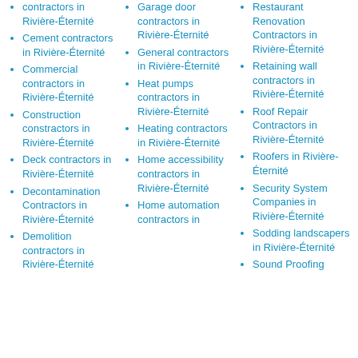contractors in Rivière-Éternité
Cement contractors in Rivière-Éternité
Commercial contractors in Rivière-Éternité
Construction constractors in Rivière-Éternité
Deck contractors in Rivière-Éternité
Decontamination Contractors in Rivière-Éternité
Demolition contractors in Rivière-Éternité
Garage door contractors in Rivière-Éternité
General contractors in Rivière-Éternité
Heat pumps contractors in Rivière-Éternité
Heating contractors in Rivière-Éternité
Home accessibility contractors in Rivière-Éternité
Home automation contractors in
Restaurant Renovation Contractors in Rivière-Éternité
Retaining wall contractors in Rivière-Éternité
Roof Repair Contractors in Rivière-Éternité
Roofers in Rivière-Éternité
Security System Companies in Rivière-Éternité
Sodding landscapers in Rivière-Éternité
Sound Proofing